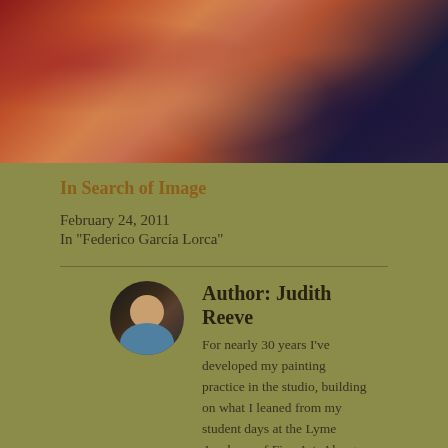[Figure (photo): Painting showing abstract figures with warm red, orange, and brown tones against dark blue-purple background — cropped at top]
In Search of Image
February 24, 2011
In "Federico García Lorca"
Author: Judith Reeve
For nearly 30 years I've developed my painting practice in the studio, building on what I leaned from my student days at the Lyme Academy of Fine Art. Along with my daily journey creating images which I write about here on this blog, I am also currently writing a book on the color practice of Robert Henri.
View all posts by Judith Reeve